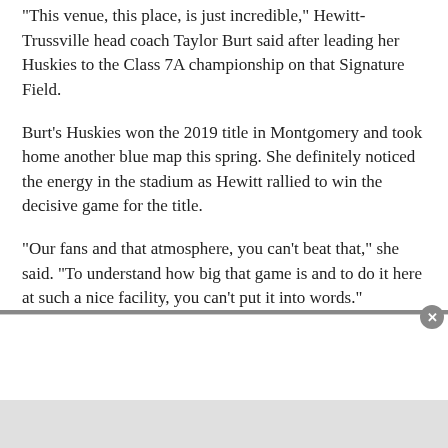“This venue, this place, is just incredible,” Hewitt-Trussville head coach Taylor Burt said after leading her Huskies to the Class 7A championship on that Signature Field.
Burt’s Huskies won the 2019 title in Montgomery and took home another blue map this spring. She definitely noticed the energy in the stadium as Hewitt rallied to win the decisive game for the title.
“Our fans and that atmosphere, you can’t beat that,” she said. “To understand how big that game is and to do it here at such a nice facility, you can’t put it into words.”
In recent years, talk (and tweets) at the state tournament